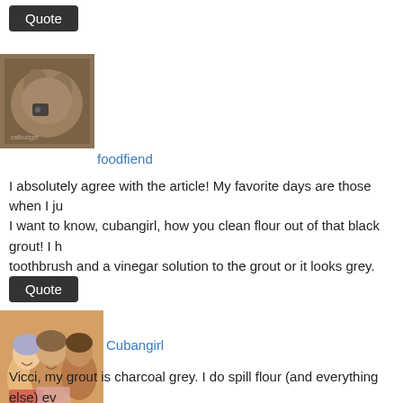Quote
[Figure (photo): Avatar photo of a cat or animal, brownish tones]
foodfiend
I absolutely agree with the article! My favorite days are those when I ju...
I want to know, cubangirl, how you clean flour out of that black grout! I ... toothbrush and a vinegar solution to the grout or it looks grey.
Quote
[Figure (photo): Avatar photo of three smiling women]
Cubangirl
Vicci, my grout is charcoal grey. I do spill flour (and everything else) ev... soon as I am finish with whatever made the mess. It does not have time...